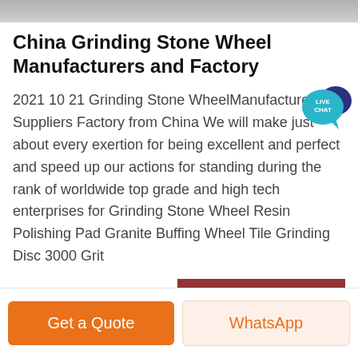[Figure (photo): Partial image strip at the top of the page showing a product or factory scene]
China Grinding Stone Wheel Manufacturers and Factory
2021 10 21 Grinding Stone WheelManufacturers Suppliers Factory from China We will make just about every exertion for being excellent and perfect and speed up our actions for standing during the rank of worldwide top grade and high tech enterprises for Grinding Stone Wheel Resin Polishing Pad Granite Buffing Wheel Tile Grinding Disc 3000 Grit
[Figure (illustration): Live Chat speech bubble icon in teal/blue color with text LIVE CHAT]
Get Price
Get a Quote
WhatsApp